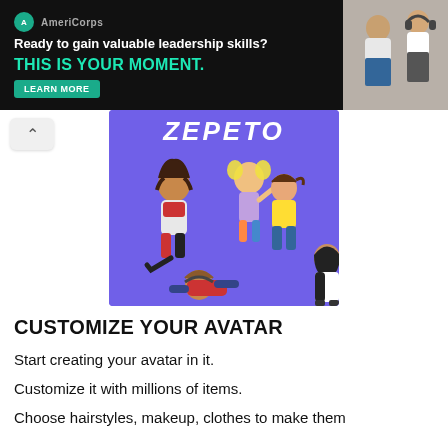[Figure (screenshot): Advertisement banner: dark background with text 'Ready to gain valuable leadership skills? THIS IS YOUR MOMENT.' with a teal LEARN MORE button, and a photo of people on the right side. Logo circle with 'AmeriCorps' text.]
[Figure (illustration): ZEPETO app screenshot showing animated avatars/characters on a purple background with the ZEPETO logo at the top.]
CUSTOMIZE YOUR AVATAR
Start creating your avatar in it.
Customize it with millions of items.
Choose hairstyles, makeup, clothes to make them